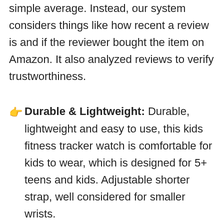simple average. Instead, our system considers things like how recent a review is and if the reviewer bought the item on Amazon. It also analyzed reviews to verify trustworthiness.
👉Durable & Lightweight: Durable, lightweight and easy to use, this kids fitness tracker watch is comfortable for kids to wear, which is designed for 5+ teens and kids. Adjustable shorter strap, well considered for smaller wrists.
👉All-day Activity: Automatically tracking your kids steps, distance and calories burning, lets kids skip, jump & move their way to a healthier life. Kids will earn virtual badges and fun on screen celebrations when they reach their goals